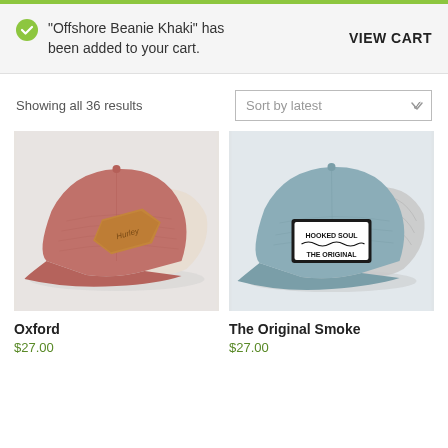"Offshore Beanie Khaki" has been added to your cart.
VIEW CART
Showing all 36 results
Sort by latest
[Figure (photo): Red/pink heathered trucker cap with cream mesh back and leather logo patch]
[Figure (photo): Light blue/smoke trucker cap with gray mesh back and black Hooked Soul The Original patch]
Oxford
$27.00
The Original Smoke
$27.00